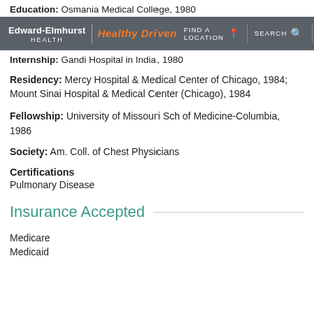Education: Osmania Medical College, 1980
[Figure (logo): Edward-Elmhurst Health / Healthy Driven logo and navigation bar with FIND A LOCATION, SEARCH, and MENU items]
Internship: Gandi Hospital in India, 1980
Residency: Mercy Hospital & Medical Center of Chicago, 1984; Mount Sinai Hospital & Medical Center (Chicago), 1984
Fellowship: University of Missouri Sch of Medicine-Columbia, 1986
Society: Am. Coll. of Chest Physicians
Certifications
Pulmonary Disease
Insurance Accepted
Medicare
Medicaid